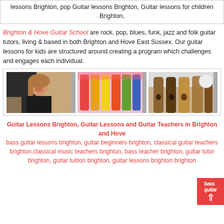lessons Brighton, pop Guitar lessons Brighton, Guitar lessons for children Brighton,
Brighton & Hove Guitar School are rock, pop, blues, funk, jazz and folk guitar tutors, living & based in both Brighton and Hove East Sussex. Our guitar lessons for kids are structured around creating a program which challenges and engages each individual.
[Figure (photo): Three photos side by side: a woman smiling holding a guitar, colorful ukuleles/guitars leaning, and acoustic guitars against a wall.]
Guitar Lessons Brighton, Guitar Lessons and Guitar Teachers in Brighton and Hove
bass guitar lessons brighton, guitar beginners brighton, classical guitar teachers brighton,classical music teachers brighton, bass teacher brighton, guitar tutor brighton, guitar tuition brighton, guitar lessons brighton brighton